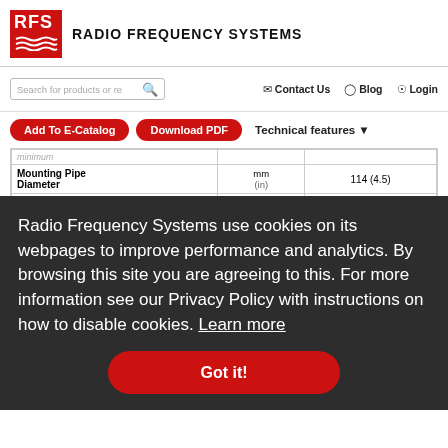[Figure (logo): RFS Radio Frequency Systems logo — red square with RFS text and wave lines, followed by RADIO FREQUENCY SYSTEMS text]
Search for products or re  |  Contact Us  |  Blog  |  Login
Add To E-Catalog  |  Download PDF  |  Technical features
|  | Unit | Value |
| --- | --- | --- |
| Mounting Pipe Diameter minimum | mm |  |
|  | (in) | 114 (4.5) |
| maximum | (in) |  |
|  |  | 127 (5.0) |
| optional | (inch) | 160 (16) |
Radio Frequency Systems use cookies on its webpages to improve performance and analytics. By browsing this site you are agreeing to this. For more information see our Privacy Policy with instructions on how to disable cookies. Learn more
Got it!
STRUCTURE
| Radome Material |  | PVC coated fabric |
| --- | --- | --- |